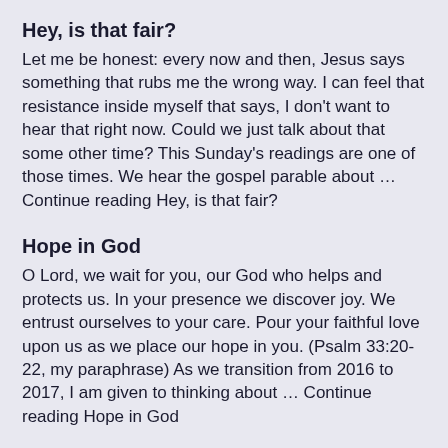Hey, is that fair?
Let me be honest: every now and then, Jesus says something that rubs me the wrong way.  I can feel that resistance inside myself that says, I don't want to hear that right now. Could we just talk about that some other time?  This Sunday's readings are one of those times.  We hear the gospel parable about … Continue reading Hey, is that fair?
Hope in God
O Lord, we wait for you,  our God who helps and protects us. In your presence we discover joy.  We entrust ourselves to your care.  Pour your faithful love upon us  as we place our hope in you. (Psalm 33:20-22, my paraphrase) As we transition from 2016 to 2017, I am given to thinking about … Continue reading Hope in God